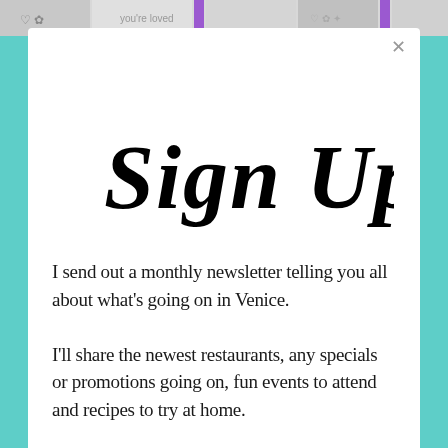[Figure (illustration): Top strip showing decorative doodle/coloring page illustrations in a horizontal banner]
Sign Up!
I send out a monthly newsletter telling you all about what's going on in Venice. I'll share the newest restaurants, any specials or promotions going on, fun events to attend and recipes to try at home.
I'll never send you spam or sell your email either. Promise.
[Figure (screenshot): Advertisement showing Ashburn OPEN 10:30AM-9PM, 44155 Ashbrook Marketplace, ... with McA logo and map direction arrow icon]